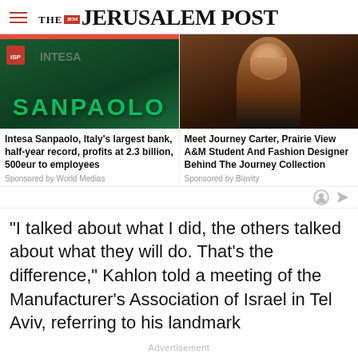THE JERUSALEM POST
[Figure (photo): Intesa Sanpaolo bank signage with green letters and red logo]
Intesa Sanpaolo, Italy’s largest bank, half-year record, profits at 2.3 billion, 500eur to employees
Sponsored by World Medias
[Figure (photo): Portrait of a young Black woman smiling, wearing a black top with pearl jewelry]
Meet Journey Carter, Prairie View A&M Student And Fashion Designer Behind The Journey Collection
Sponsored by Blavity
"I talked about what I did, the others talked about what they will do. That's the difference," Kahlon told a meeting of the Manufacturer's Association of Israel in Tel Aviv, referring to his landmark
Advertisement